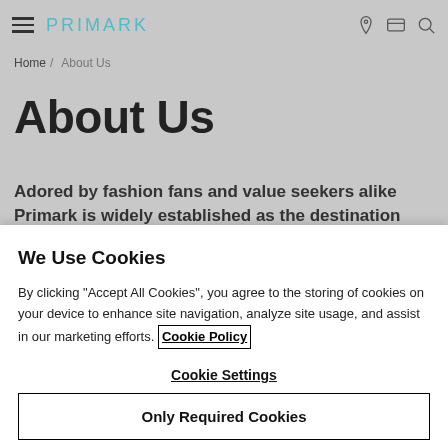PRIMARK
Home / About Us
About Us
Adored by fashion fans and value seekers alike Primark is widely established as the destination
We Use Cookies
By clicking “Accept All Cookies”, you agree to the storing of cookies on your device to enhance site navigation, analyze site usage, and assist in our marketing efforts. Cookie Policy
Cookie Settings
Only Required Cookies